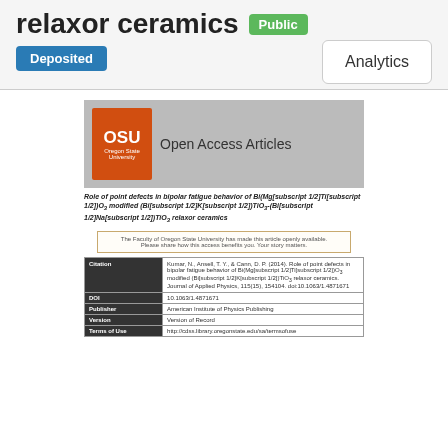relaxor ceramics
Public
Deposited
Analytics
[Figure (screenshot): OSU Open Access Articles banner with orange OSU logo and gray background]
Role of point defects in bipolar fatigue behavior of Bi(Mg[subscript 1/2]Ti[subscript 1/2])O3 modified (Bi[subscript 1/2]K[subscript 1/2])TiO3-(Bi[subscript 1/2]Na[subscript 1/2])TiO3 relaxor ceramics
The Faculty of Oregon State University has made this article openly available. Please share how this access benefits you. Your story matters.
| Field | Value |
| --- | --- |
| Citation | Kumar, N., Ansell, T. Y., & Cann, D. P. (2014). Role of point defects in bipolar fatigue behavior of Bi(Mg[subscript 1/2]Ti[subscript 1/2])O3 modified (Bi[subscript 1/2]K[subscript 1/2])TiO3-(Bi[subscript 1/2]Na[subscript 1/2])TiO3 relaxor ceramics. Journal of Applied Physics, 115(15), 154104. doi:10.1063/1.4871671 |
| DOI | 10.1063/1.4871671 |
| Publisher | American Institute of Physics Publishing |
| Version | Version of Record |
| Terms of Use | http://cdss.library.oregonstate.edu/sa/termsofuse |